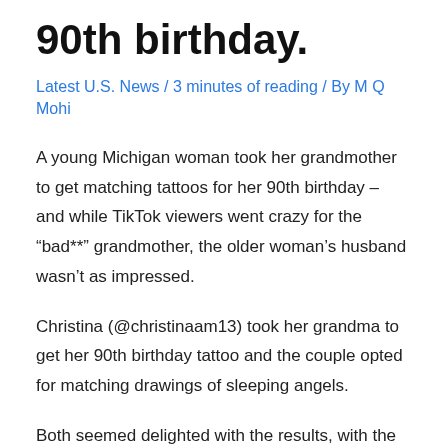90th birthday.
Latest U.S. News / 3 minutes of reading / By M Q Mohi
A young Michigan woman took her grandmother to get matching tattoos for her 90th birthday – and while TikTok viewers went crazy for the “bad**” grandmother, the older woman’s husband wasn’t as impressed.
Christina (@christinaam13) took her grandma to get her 90th birthday tattoo and the couple opted for matching drawings of sleeping angels.
Both seemed delighted with the results, with the